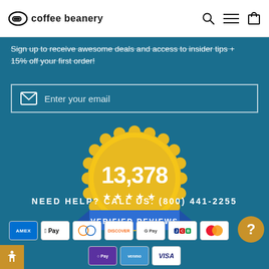coffee beanery
Sign up to receive awesome deals and access to insider tips + 15% off your first order!
Enter your email
[Figure (infographic): Gold badge with '13,378' in large white text, five white stars beneath, and a blue ribbon banner reading 'VERIFIED REVIEWS']
NEED HELP? CALL US: (800) 441-2255
[Figure (infographic): Payment method icons: AMEX, Apple Pay, Diners Club, Discover, Google Pay, JCB, Mastercard, and more; second row includes Apple Pay, Venmo, Visa]